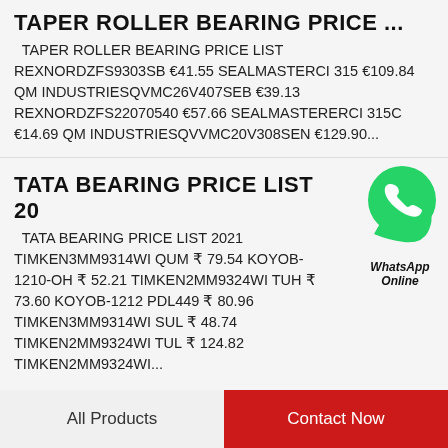TAPER ROLLER BEARING PRICE ...
TAPER ROLLER BEARING PRICE LIST REXNORDZFS9303SB €41.55 SEALMASTERCI 315 €109.84 QM INDUSTRIESQVMC26V407SEB €39.13 REXNORDZFS22070540 €57.66 SEALMASTERERCI 315C €14.69 QM INDUSTRIESQVVMC20V308SEN €129.90...
TATA BEARING PRICE LIST 20...
[Figure (logo): WhatsApp Online green phone bubble icon with WhatsApp Online label]
TATA BEARING PRICE LIST 2021 TIMKEN3MM9314WI QUM ₹ 79.54 KOYOB-1210-OH ₹ 52.21 TIMKEN2MM9324WI TUH ₹ 73.60 KOYOB-1212 PDL449 ₹ 80.96 TIMKEN3MM9314WI SUL ₹ 48.74 TIMKEN2MM9324WI TUL ₹ 124.82 TIMKEN2MM9324WI...
All Products | Contact Now